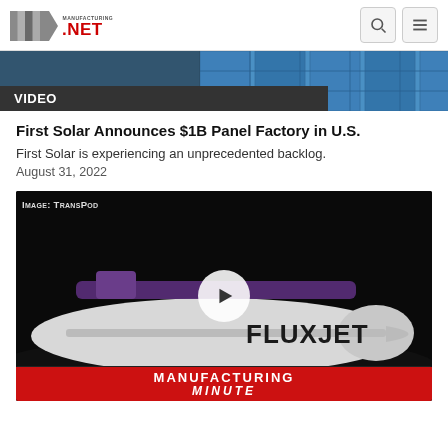Manufacturing.net
[Figure (screenshot): Partial video thumbnail showing solar panels with blue panels and VIDEO label banner at bottom]
First Solar Announces $1B Panel Factory in U.S.
First Solar is experiencing an unprecedented backlog.
August 31, 2022
[Figure (screenshot): Video thumbnail showing a FluxJet pod vehicle on a dark background with image credit 'Image: TransPod', a white play button in the center, FluxJet text on the vehicle, and Manufacturing Minute banner at the bottom]